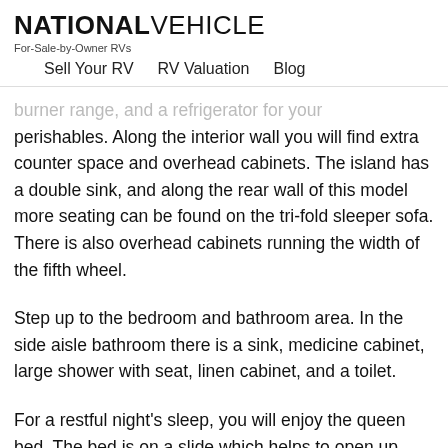NATIONAL VEHICLE
For-Sale-by-Owner RVs
Sell Your RV   RV Valuation   Blog
burner range, and a refrigerator for your perishables. Along the interior wall you will find extra counter space and overhead cabinets. The island has a double sink, and along the rear wall of this model more seating can be found on the tri-fold sleeper sofa. There is also overhead cabinets running the width of the fifth wheel.
Step up to the bedroom and bathroom area. In the side aisle bathroom there is a sink, medicine cabinet, large shower with seat, linen cabinet, and a toilet.
For a restful night's sleep, you will enjoy the queen bed. The bed is on a slide which helps to open up